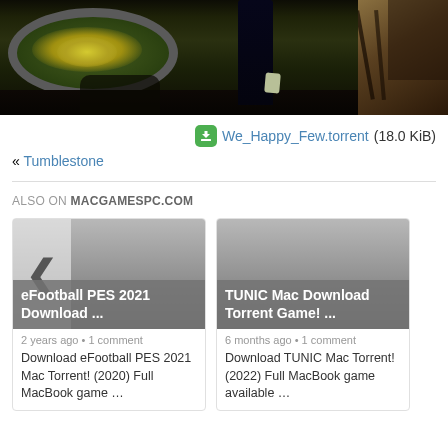[Figure (screenshot): Dark game scene showing a figure in a garden with stone-bordered flower bed with yellow flowers on the left portion, and a wooden structure on the right cropped portion]
We_Happy_Few.torrent (18.0 KiB)
« Tumblestone
ALSO ON MACGAMESPC.COM
[Figure (screenshot): Card thumbnail for eFootball PES 2021 Mac Download with left navigation arrow overlay]
2 years ago • 1 comment
Download eFootball PES 2021 Mac Torrent! (2020) Full MacBook game …
[Figure (screenshot): Card thumbnail for TUNIC Mac Download Torrent Game]
6 months ago • 1 comment
Download TUNIC Mac Torrent! (2022) Full MacBook game available …